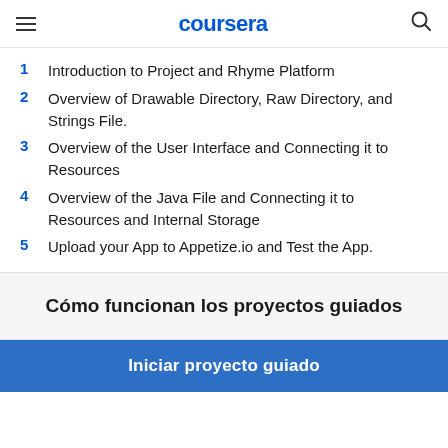coursera
1  Introduction to Project and Rhyme Platform
2  Overview of Drawable Directory, Raw Directory, and Strings File.
3  Overview of the User Interface and Connecting it to Resources
4  Overview of the Java File and Connecting it to Resources and Internal Storage
5  Upload your App to Appetize.io and Test the App.
Cómo funcionan los proyectos guiados
Iniciar proyecto guiado